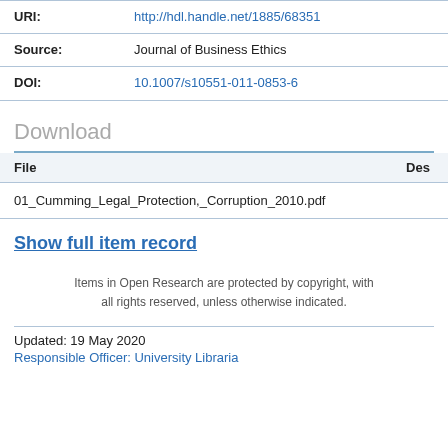| Field | Value |
| --- | --- |
| URI: | http://hdl.handle.net/1885/68351 |
| Source: | Journal of Business Ethics |
| DOI: | 10.1007/s10551-011-0853-6 |
Download
| File | Des |
| --- | --- |
| 01_Cumming_Legal_Protection,_Corruption_2010.pdf |  |
Show full item record
Items in Open Research are protected by copyright, with all rights reserved, unless otherwise indicated.
Updated: 19 May 2020
Responsible Officer: University Librarian